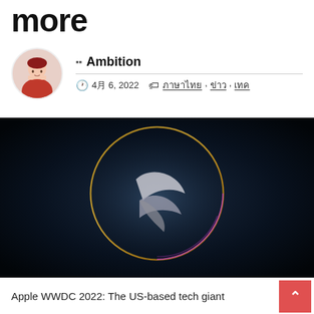more
⬛⬛ Ambition
🕐 4月 6, 2022  🏷 ภาษาไทย, ข่าว, เทค
[Figure (photo): Dark background with glowing circular rings (gold/yellow and purple/pink) with a Swift-like logo in the center — Apple WWDC 2022 promotional image]
Apple WWDC 2022: The US-based tech giant